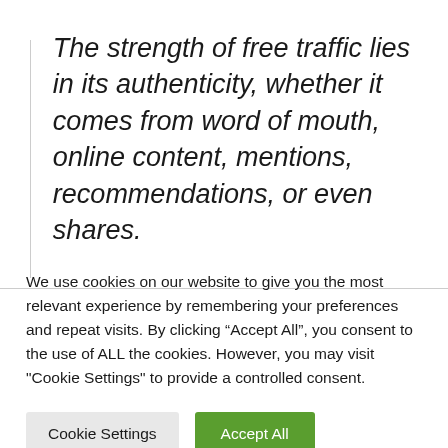The strength of free traffic lies in its authenticity, whether it comes from word of mouth, online content, mentions, recommendations, or even shares.
We use cookies on our website to give you the most relevant experience by remembering your preferences and repeat visits. By clicking “Accept All”, you consent to the use of ALL the cookies. However, you may visit "Cookie Settings" to provide a controlled consent.